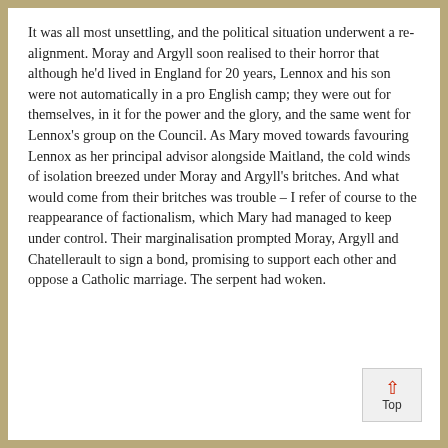It was all most unsettling, and the political situation underwent a re-alignment. Moray and Argyll soon realised to their horror that although he'd lived in England for 20 years, Lennox and his son were not automatically in a pro English camp; they were out for themselves, in it for the power and the glory, and the same went for Lennox's group on the Council. As Mary moved towards favouring Lennox as her principal advisor alongside Maitland, the cold winds of isolation breezed under Moray and Argyll's britches. And what would come from their britches was trouble – I refer of course to the reappearance of factionalism, which Mary had managed to keep under control. Their marginalisation prompted Moray, Argyll and Chatellerault to sign a bond, promising to support each other and oppose a Catholic marriage. The serpent had woken.